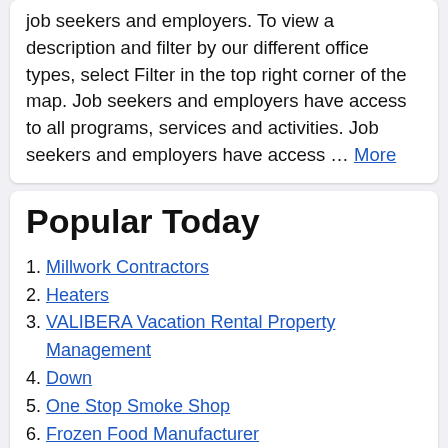job seekers and employers. To view a description and filter by our different office types, select Filter in the top right corner of the map. Job seekers and employers have access to all programs, services and activities. Job seekers and employers have access ... More
Popular Today
Millwork Contractors
Heaters
VALIBERA Vacation Rental Property Management
Down
One Stop Smoke Shop
Frozen Food Manufacturer
Tech 1 Auto
Fire Safety Service
ESA Dr Phoenix
Presidential Banquet Hall